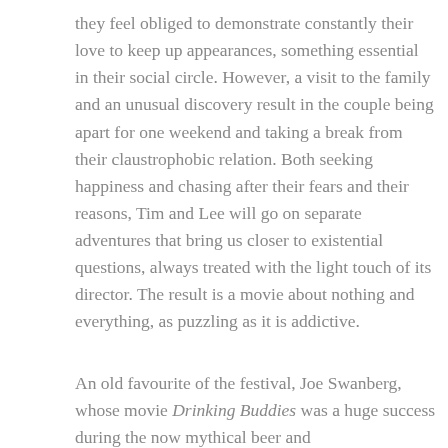they feel obliged to demonstrate constantly their love to keep up appearances, something essential in their social circle. However, a visit to the family and an unusual discovery result in the couple being apart for one weekend and taking a break from their claustrophobic relation. Both seeking happiness and chasing after their fears and their reasons, Tim and Lee will go on separate adventures that bring us closer to existential questions, always treated with the light touch of its director. The result is a movie about nothing and everything, as puzzling as it is addictive.
An old favourite of the festival, Joe Swanberg, whose movie Drinking Buddies was a huge success during the now mythical beer and